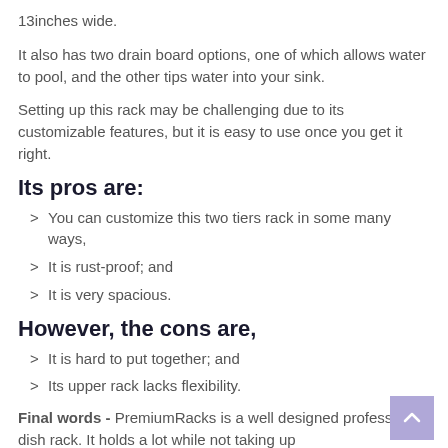13inches wide.
It also has two drain board options, one of which allows water to pool, and the other tips water into your sink.
Setting up this rack may be challenging due to its customizable features, but it is easy to use once you get it right.
Its pros are:
You can customize this two tiers rack in some many ways,
It is rust-proof; and
It is very spacious.
However, the cons are,
It is hard to put together; and
Its upper rack lacks flexibility.
Final words - PremiumRacks is a well designed professional dish rack. It holds a lot while not taking up